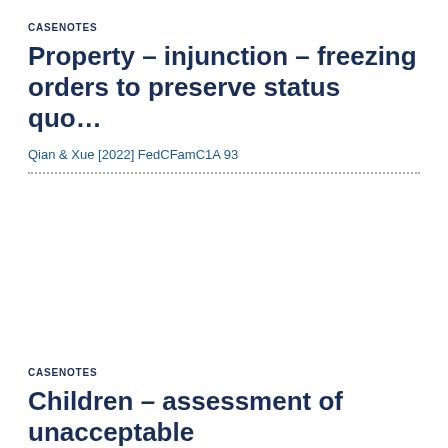CASENOTES
Property – injunction – freezing orders to preserve status quo…
Qian & Xue [2022] FedCFamC1A 93
CASENOTES
Children – assessment of unacceptable